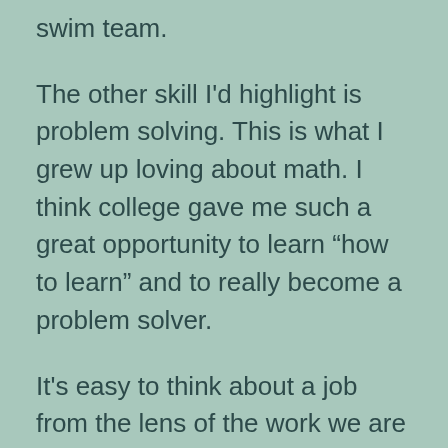swim team.
The other skill I’d highlight is problem solving. This is what I grew up loving about math. I think college gave me such a great opportunity to learn “how to learn” and to really become a problem solver.
It’s easy to think about a job from the lens of the work we are doing and how we are contributing to the performance of the company. But some of the best advice I got was to also think about what the job itself was giving to me. In most cases it’s been